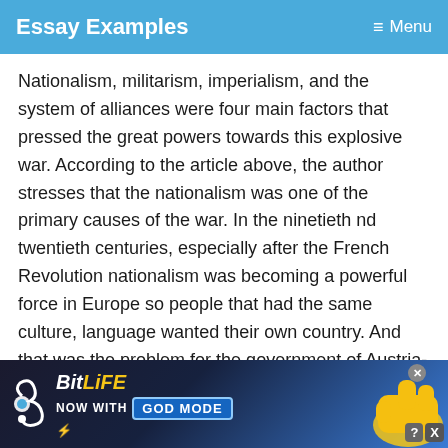Essay Examples  ≡ Menu
Nationalism, militarism, imperialism, and the system of alliances were four main factors that pressed the great powers towards this explosive war. According to the article above, the author stresses that the nationalism was one of the primary causes of the war. In the ninetieth nd twentieth centuries, especially after the French Revolution nationalism was becoming a powerful force in Europe so people that had the same culture, language wanted their own country. And that was the problem for the government of Austria-Hungary that did not
[Figure (screenshot): BitLife advertisement banner with 'NOW WITH GOD MODE' text and a hand/lightning graphic]